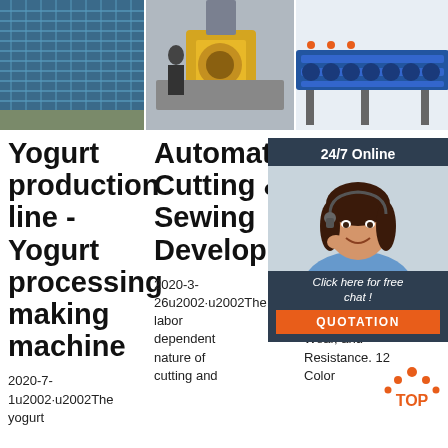[Figure (photo): Three product/industrial photos side by side at top of page: solar panels fence, industrial machinery with yellow elements, blue roll forming machine]
Yogurt production line - Yogurt processing making machine
Automatically Cutting & Sewing Development
Tu Se .Nl Fer Fine Pressure, Wear, and Resistance. 12 Color
2020-7-1u2002·u2002The yogurt
2020-3-26u2002·u2002The labor dependent nature of cutting and
2019-26u2002·u2002Fine Pressure, Wear, and Resistance. 12 Color
[Figure (photo): Customer service representative chat widget with woman wearing headset, 24/7 Online label, Click here for free chat, QUOTATION button]
[Figure (logo): TOP logo with orange dot pattern]